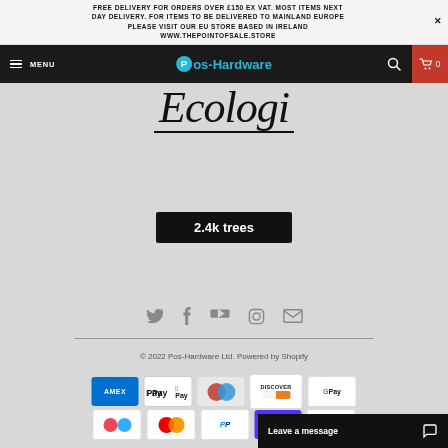FREE DELIVERY FOR ORDERS OVER £150 EX VAT. MOST ITEMS NEXT DAY DELIVERY. FOR ITEMS TO BE DELIVERED TO MAINLAND EUROPE PLEASE VISIT OUR EU STORE BASED IN IRELAND WWW.THEPOINTOFSALE.STORE
[Figure (logo): Pos-Hardware navigation bar with hamburger menu, logo, search icon, and cart]
[Figure (illustration): Cursive/handwriting style logo graphic with underline, and '2.4k trees' black badge]
[Figure (infographic): Row of social media icons: Twitter, Facebook, YouTube, Instagram, Email]
© 2022 Pos-Hardware Ltd. Powered by Shopify
[Figure (infographic): Payment method icons row 1: Amex, Apple Pay, Diners Club, Discover, Google Pay]
[Figure (infographic): Payment method icons row 2: Klarna, Mastercard, PayPal, Shop Pay, Visa]
Leave a message